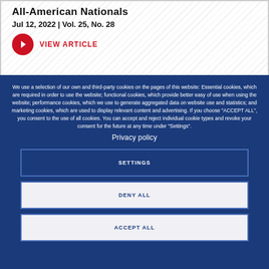All-American Nationals
Jul 12, 2022 | Vol. 25, No. 28
VIEW ARTICLE
We use a selection of our own and third-party cookies on the pages of this website: Essential cookies, which are required in order to use the website; functional cookies, which provide better easy of use when using the website; performance cookies, which we use to generate aggregated data on website use and statistics; and marketing cookies, which are used to display relevant content and advertising. If you choose "ACCEPT ALL", you consent to the use of all cookies. You can accept and reject individual cookie types and revoke your consent for the future at any time under "Settings".
Privacy policy
SETTINGS
DENY ALL
ACCEPT ALL